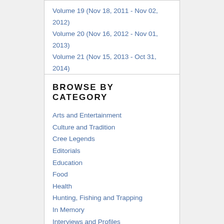Volume 19 (Nov 18, 2011 - Nov 02, 2012)
Volume 20 (Nov 16, 2012 - Nov 01, 2013)
Volume 21 (Nov 15, 2013 - Oct 31, 2014)
Volume 22 (Oct 31, 2014 - Oct 30, 2015)
Volume 23 (Nov 11, 2015 - Dec 25, 2015)
BROWSE BY CATEGORY
Arts and Entertainment
Culture and Tradition
Cree Legends
Editorials
Education
Food
Health
Hunting, Fishing and Trapping
In Memory
Interviews and Profiles
News
Sports
Youth